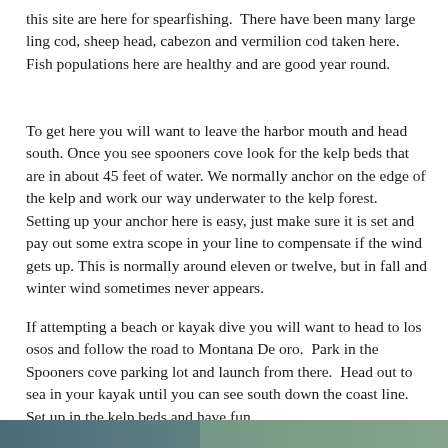this site are here for spearfishing. There have been many large ling cod, sheep head, cabezon and vermilion cod taken here. Fish populations here are healthy and are good year round.
To get here you will want to leave the harbor mouth and head south. Once you see spooners cove look for the kelp beds that are in about 45 feet of water. We normally anchor on the edge of the kelp and work our way underwater to the kelp forest. Setting up your anchor here is easy, just make sure it is set and pay out some extra scope in your line to compensate if the wind gets up. This is normally around eleven or twelve, but in fall and winter wind sometimes never appears.
If attempting a beach or kayak dive you will want to head to los osos and follow the road to Montana De oro. Park in the Spooners cove parking lot and launch from there. Head out to sea in your kayak until you can see south down the coast line. Set up in the kelp beds and have fun.
[Figure (photo): Partial view of a coastal/underwater photo strip at the bottom of the page]